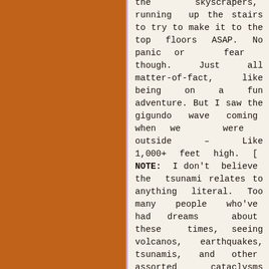the skyscrapers, running up the stairs to try to make it to the top floors ASAP. No panic or fear though. Just all matter-of-fact, like being on a fun adventure. But I saw the gigundo wave coming when we were outside – Like 1,000+ feet high. [ NOTE: I don't believe the tsunami relates to anything literal. Too many people who've had dreams about these times, seeing volcanos, earthquakes, tsunamis, and other assorted cataclysms aren't considering the symbolic meaning of these things. And while I immediately interpreted the symbolic meaning...